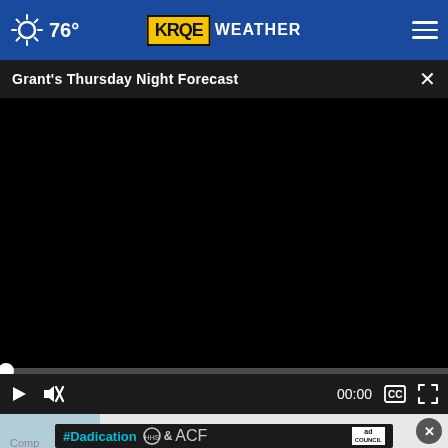76° KRQE WEATHER
Grant's Thursday Night Forecast
[Figure (screenshot): Black video player area showing a paused/unloaded video with progress bar at 00:00, play button, mute button, timestamp 00:00, captions button, and fullscreen button]
Hands Down the Top Credit Card of 2022
Comp
[Figure (screenshot): #Dadication ad banner with HHS ACF and Ad Council logos on dark background]